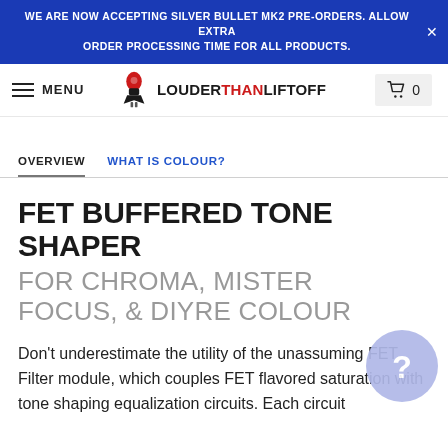WE ARE NOW ACCEPTING SILVER BULLET MK2 PRE-ORDERS. ALLOW EXTRA ORDER PROCESSING TIME FOR ALL PRODUCTS.
[Figure (logo): LouderThanLiftoff logo with stylized rocket/chess piece icon and brand name in LOUDER THAN LIFTOFF text]
OVERVIEW
WHAT IS COLOUR?
FET BUFFERED TONE SHAPER
FOR CHROMA, MISTER FOCUS, & DIYRE COLOUR
Don't underestimate the utility of the unassuming FET Filter module, which couples FET flavored saturation with tone shaping equalization circuits. Each circuit